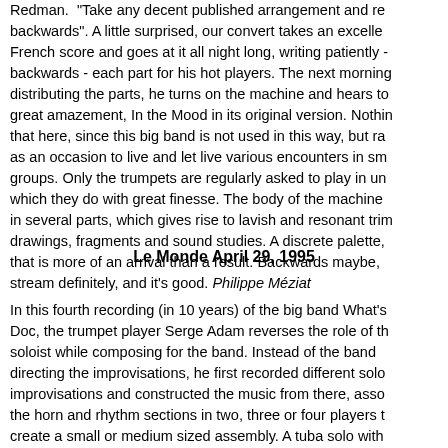Redman. "Take any decent published arrangement and reverse backwards". A little surprised, our convert takes an excellent French score and goes at it all night long, writing patiently - backwards - each part for his hot players. The next morning, distributing the parts, he turns on the machine and hears to his great amazement, In the Mood in its original version. Nothing new that here, since this big band is not used in this way, but rather as an occasion to live and let live various encounters in small groups. Only the trumpets are regularly asked to play in unison, which they do with great finesse. The body of the machine comes in several parts, which gives rise to lavish and resonant timbres, drawings, fragments and sound studies. A discrete palette, that is more of an arrival than a result. Backwards maybe, mainstream definitely, and it's good. Philippe Méziat
Le Monde April 29, 1995
In this fourth recording (in 10 years) of the big band What's Doc, the trumpet player Serge Adam reverses the role of the soloist while composing for the band. Instead of the band directing the improvisations, he first recorded different solo improvisations and constructed the music from there, associating the horn and rhythm sections in two, three or four players to create a small or medium sized assembly. A tuba solo with trombones, a trumpet and bass with saxophones, drums and...